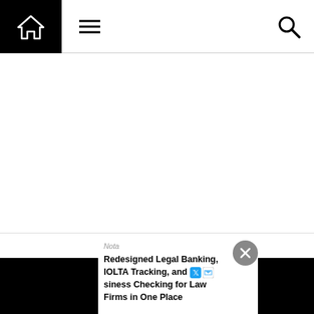Navigation bar with home icon, menu icon, and search icon
[Figure (screenshot): Blank white main content area of a legal website]
Nota
Redesigned Legal Banking, IOLTA Tracking, and Business Checking for Law Firms in One Place